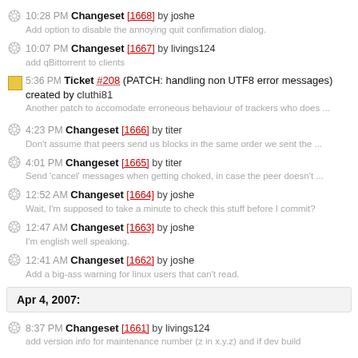10:28 PM Changeset [1668] by joshe
Add option to disable the annoying quit confirmation dialog.
10:07 PM Changeset [1667] by livings124
add qBittorrent to clients
5:36 PM Ticket #208 (PATCH: handling non UTF8 error messages) created by cluthi81
Another patch to accomodate erroneous behaviour of trackers who does ...
4:23 PM Changeset [1666] by titer
Don't assume that peers send us blocks in the same order we sent the ...
4:01 PM Changeset [1665] by titer
Send 'cancel' messages when getting choked, in case the peer doesn't ...
12:52 AM Changeset [1664] by joshe
Wait, I'm supposed to take a minute to check this stuff before I commit?
12:47 AM Changeset [1663] by joshe
I'm english well speaking.
12:41 AM Changeset [1662] by joshe
Add a big-ass warning for linux users that can't read.
Apr 4, 2007:
8:37 PM Changeset [1661] by livings124
add version info for maintenance number (z in x.y.z) and if dev build